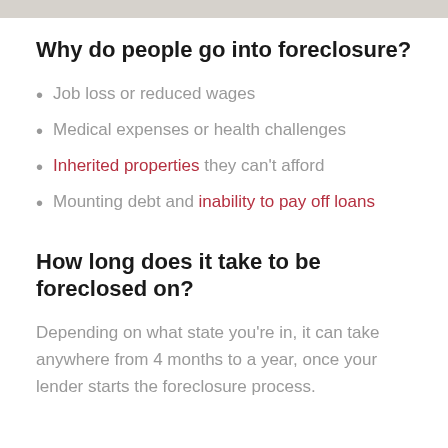Why do people go into foreclosure?
Job loss or reduced wages
Medical expenses or health challenges
Inherited properties they can't afford
Mounting debt and inability to pay off loans
How long does it take to be foreclosed on?
Depending on what state you're in, it can take anywhere from 4 months to a year, once your lender starts the foreclosure process.